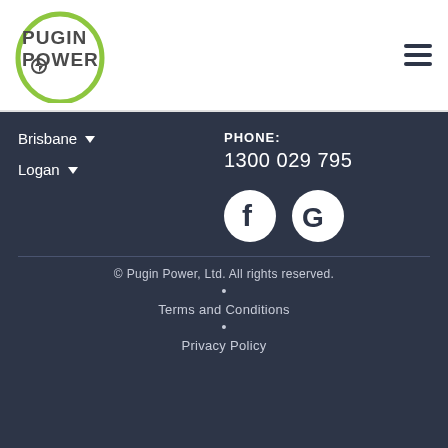[Figure (logo): Pugin Power logo with green oval and lightning bolt icon, company name in grey bold text]
[Figure (other): Hamburger menu icon (three horizontal lines)]
Brisbane ˅
Logan ˅
PHONE: 1300 029 795
[Figure (other): Facebook icon (white F on dark circle) and Google icon (white G on dark circle)]
© Pugin Power, Ltd. All rights reserved. • Terms and Conditions • Privacy Policy